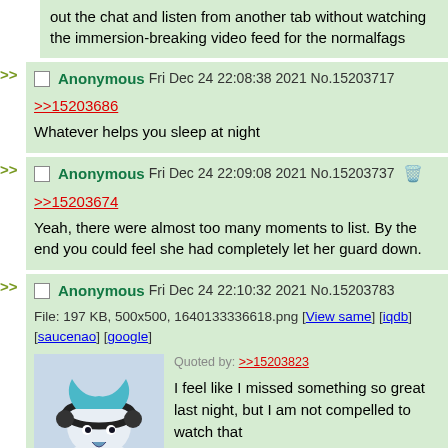out the chat and listen from another tab without watching the immersion-breaking video feed for the normalfags
Anonymous Fri Dec 24 22:08:38 2021 No.15203717
>>15203686
Whatever helps you sleep at night
Anonymous Fri Dec 24 22:09:08 2021 No.15203737
>>15203674
Yeah, there were almost too many moments to list. By the end you could feel she had completely let her guard down.
Anonymous Fri Dec 24 22:10:32 2021 No.15203783
File: 197 KB, 500x500, 1640133336618.png [View same] [iqdb] [saucenao] [google]
Quoted by: >>15203823
I feel like I missed something so great last night, but I am not compelled to watch that